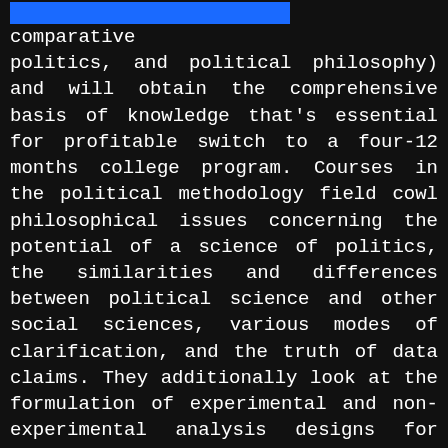[Figure (other): Blue highlight bar at top of page, partially visible, suggesting a heading or highlight element]
comparative politics, and political philosophy) and will obtain the comprehensive basis of knowledge that's essential for profitable switch to a four-12 months college program. Courses in the political methodology field cowl philosophical issues concerning the potential of a science of politics, the similarities and differences between political science and other social sciences, various modes of clarification, and the truth of data claims. They additionally look at the formulation of experimental and non-experimental analysis designs for making causal inferences about political processes and conduct and discover the. use of statistics, mathematics and computers for the evaluation of political data generated by such research designs.
World Political Science (WPS) publishes translations of prize-profitable articles nominated by prominent nationwide political science associations and journals all over the world. Scholars in a area as international as political science deserve access to the best scholarship from around the globe.